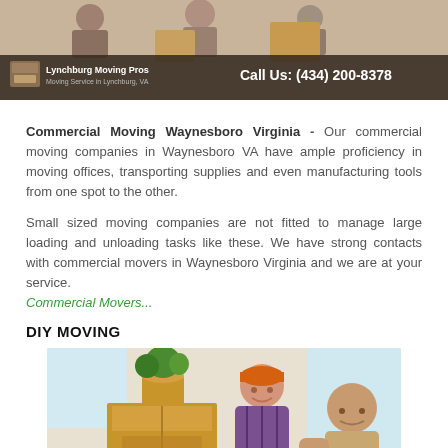[Figure (photo): Banner image showing people moving boxes with Lynchburg Moving Pros logo and phone number overlay. Logo on left, 'Call Us: (434) 200-8378' on right, dark semi-transparent bar at bottom of banner.]
Commercial Moving Waynesboro Virginia - Our commercial moving companies in Waynesboro VA have ample proficiency in moving offices, transporting supplies and even manufacturing tools from one spot to the other.
Small sized moving companies are not fitted to manage large loading and unloading tasks like these. We have strong contacts with commercial movers in Waynesboro Virginia and we are at your service.
Commercial Movers...
DIY MOVING
[Figure (photo): Photo of a smiling woman with orange headband holding moving boxes with a plant on top, and a man in background, both appearing to be moving.]